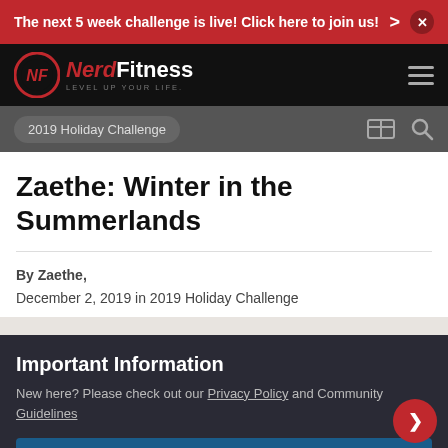The next 5 week challenge is live! Click here to join us!
[Figure (logo): NerdFitness logo with red circular NF emblem and text 'NerdFitness - Level Up Your Life']
2019 Holiday Challenge
Zaethe: Winter in the Summerlands
By Zaethe,
December 2, 2019 in 2019 Holiday Challenge
Important Information
New here? Please check out our Privacy Policy and Community Guidelines
✓ I accept